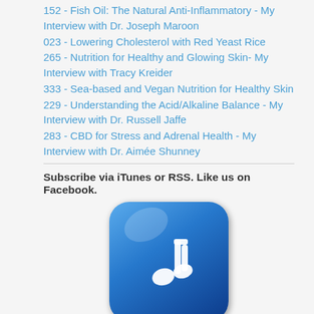152 - Fish Oil: The Natural Anti-Inflammatory - My Interview with Dr. Joseph Maroon
023 - Lowering Cholesterol with Red Yeast Rice
265 - Nutrition for Healthy and Glowing Skin- My Interview with Tracy Kreider
333 - Sea-based and Vegan Nutrition for Healthy Skin
229 - Understanding the Acid/Alkaline Balance - My Interview with Dr. Russell Jaffe
283 - CBD for Stress and Adrenal Health - My Interview with Dr. Aimée Shunney
Subscribe via iTunes or RSS. Like us on Facebook.
[Figure (logo): iTunes music note icon - blue rounded square button]
[Figure (logo): iTunes text label with Apple logo]
[Figure (logo): RSS orange feed icon]
[Figure (logo): RSS text label orange]